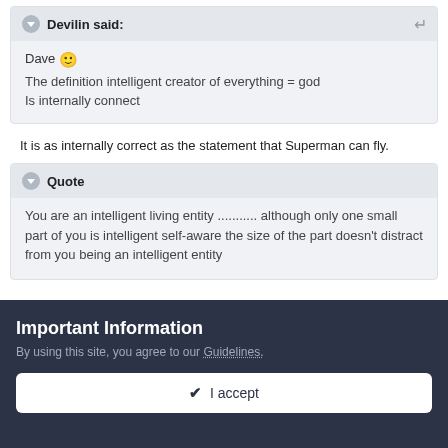Devilin said:
Dave 🙂
The definition intelligent creator of everything = god
Is internally connect
It is as internally correct as the statement that Superman can fly.
Quote
You are an intelligent living entity ........... although only one small part of you is intelligent self-aware the size of the part doesn't distract from you being an intelligent entity
Important Information
By using this site, you agree to our Guidelines.
✔ I accept